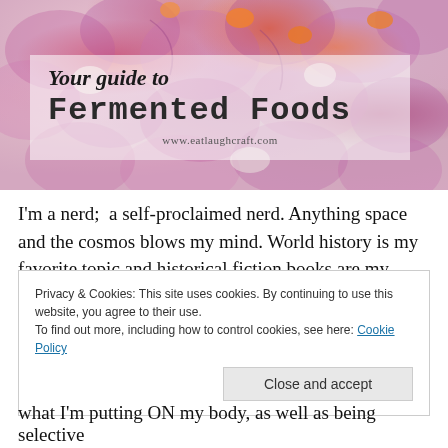[Figure (photo): Hero image showing fermented foods — colorful chopped vegetables including purple/red cabbage, carrots, and other ingredients. Overlaid with a semi-transparent white box containing title text.]
Your guide to Fermented Foods
www.eatlaughcraft.com
I'm a nerd;  a self-proclaimed nerd. Anything space and the cosmos blows my mind. World history is my favorite topic and historical fiction books are my weakness.  I read science and educational articles daily. I'm constantly
Privacy & Cookies: This site uses cookies. By continuing to use this website, you agree to their use.
To find out more, including how to control cookies, see here: Cookie Policy
[Close and accept]
what I'm putting ON my body, as well as being selective